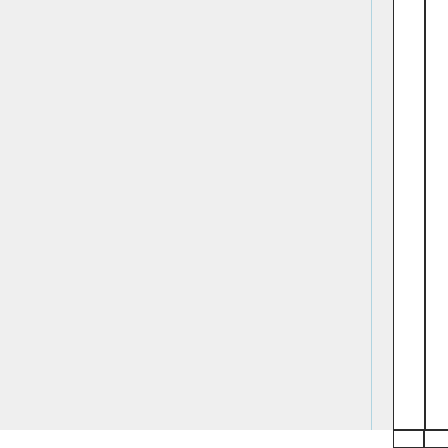(usually called Planefile) for the plane. This file is may use YYYY, MM, and GEO: these with values. If the plane turned on look for a Planefile file for each. Then it will quantities defined with Planefile file.
|  |  |
|  |  |